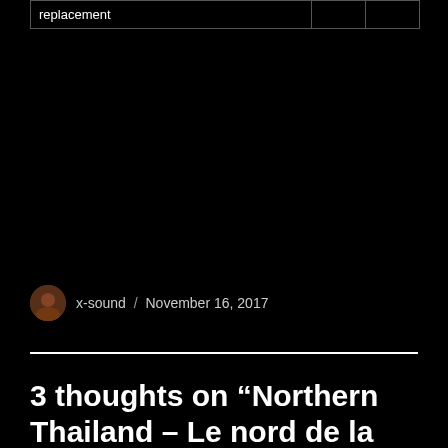| replacement |  |  |
[Figure (photo): Black area representing an embedded video or image placeholder]
x-sound / November 16, 2017
3 thoughts on “Northern Thailand – Le nord de la